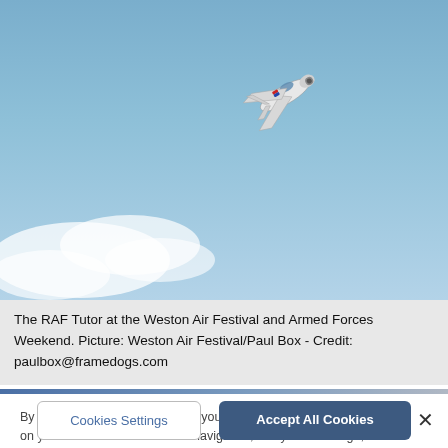[Figure (photo): A small RAF Tutor aircraft photographed from below against a blue sky with some white clouds, appearing to bank or turn during an airshow display.]
The RAF Tutor at the Weston Air Festival and Armed Forces Weekend. Picture: Weston Air Festival/Paul Box - Credit: paulbox@framedogs.com
By clicking "Accept All Cookies", you agree to the storing of cookies on your device to enhance site navigation, analyze site usage, and assist in our marketing efforts.